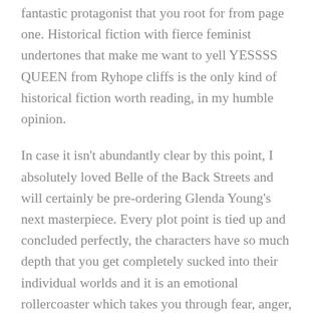fantastic protagonist that you root for from page one. Historical fiction with fierce feminist undertones that make me want to yell YESSSS QUEEN from Ryhope cliffs is the only kind of historical fiction worth reading, in my humble opinion.
In case it isn't abundantly clear by this point, I absolutely loved Belle of the Back Streets and will certainly be pre-ordering Glenda Young's next masterpiece. Every plot point is tied up and concluded perfectly, the characters have so much depth that you get completely sucked into their individual worlds and it is an emotional rollercoaster which takes you through fear, anger, anticipation, laughter, pure joy and everything in between. Plus, there are animals in there